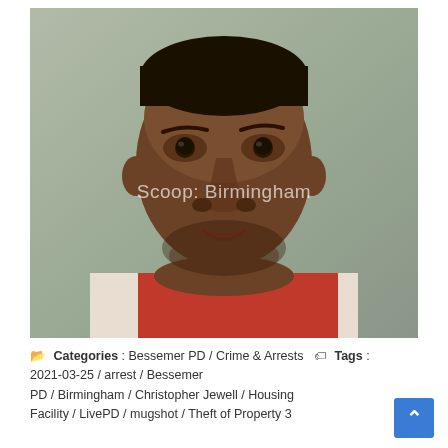[Figure (photo): Mugshot of a man wearing a red and white striped detention facility uniform, with watermark text 'Scoop: Birmingham' overlaid on the image. Gray/green background typical of booking photos.]
Categories : Bessemer PD / Crime & Arrests  Tags : 2021-03-25 / arrest / Bessemer PD / Birmingham / Christopher Jewell / Housing Facility / LivePD / mugshot / Theft of Property 3